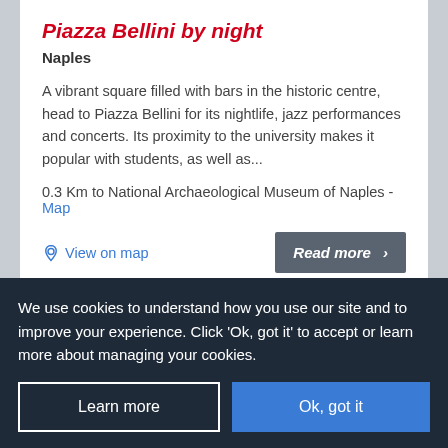Piazza Bellini by night
Naples
A vibrant square filled with bars in the historic centre, head to Piazza Bellini for its nightlife, jazz performances and concerts. Its proximity to the university makes it popular with students, as well as...
0.3 Km to National Archaeological Museum of Naples - Map
View on map
Read more ›
We use cookies to understand how you use our site and to improve your experience. Click 'Ok, got it' to accept or learn more about managing your cookies.
Learn more
Ok, got it